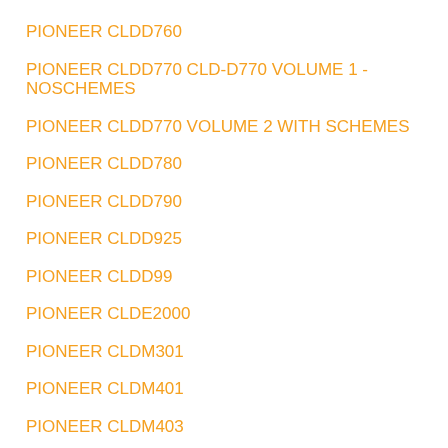PIONEER CLDD760
PIONEER CLDD770 CLD-D770 VOLUME 1 - NOSCHEMES
PIONEER CLDD770 VOLUME 2 WITH SCHEMES
PIONEER CLDD780
PIONEER CLDD790
PIONEER CLDD925
PIONEER CLDD99
PIONEER CLDE2000
PIONEER CLDM301
PIONEER CLDM401
PIONEER CLDM403